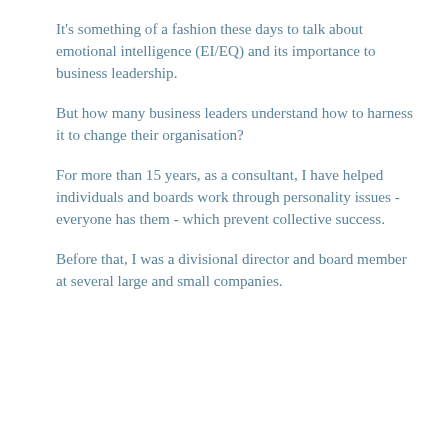It's something of a fashion these days to talk about emotional intelligence (EI/EQ) and its importance to business leadership.
But how many business leaders understand how to harness it to change their organisation?
For more than 15 years, as a consultant, I have helped individuals and boards work through personality issues - everyone has them - which prevent collective success.
Before that, I was a divisional director and board member at several large and small companies.